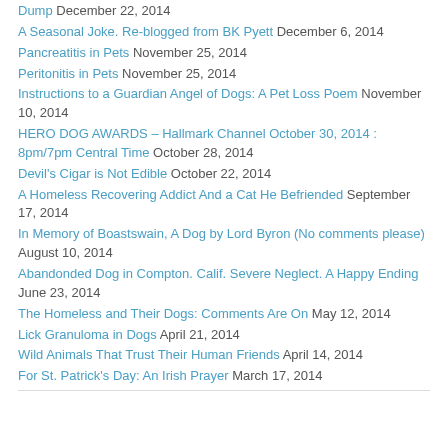Dump December 22, 2014
A Seasonal Joke. Re-blogged from BK Pyett December 6, 2014
Pancreatitis in Pets November 25, 2014
Peritonitis in Pets November 25, 2014
Instructions to a Guardian Angel of Dogs: A Pet Loss Poem November 10, 2014
HERO DOG AWARDS – Hallmark Channel October 30, 2014 : 8pm/7pm Central Time October 28, 2014
Devil's Cigar is Not Edible October 22, 2014
A Homeless Recovering Addict And a Cat He Befriended September 17, 2014
In Memory of Boastswain, A Dog by Lord Byron (No comments please) August 10, 2014
Abandonded Dog in Compton. Calif. Severe Neglect. A Happy Ending June 23, 2014
The Homeless and Their Dogs: Comments Are On May 12, 2014
Lick Granuloma in Dogs April 21, 2014
Wild Animals That Trust Their Human Friends April 14, 2014
For St. Patrick's Day: An Irish Prayer March 17, 2014